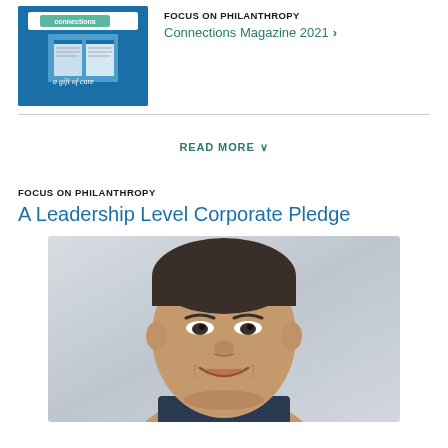[Figure (photo): Cover of Connections Magazine 2021 with blue background]
FOCUS ON PHILANTHROPY
Connections Magazine 2021 ›
READ MORE ∨
FOCUS ON PHILANTHROPY
A Leadership Level Corporate Pledge
[Figure (photo): Portrait photo of an Asian man smiling, grey background]